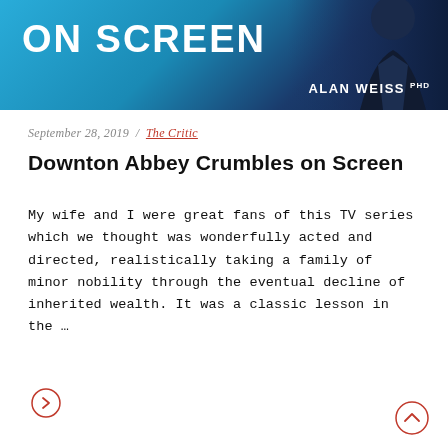[Figure (illustration): Header banner with blue gradient background. Large white bold text 'ON SCREEN' on left. 'ALAN WEISS PHD' in white uppercase on bottom right. Right side shows partial dark silhouette of a man in a suit.]
September 28, 2019  /  The Critic
Downton Abbey Crumbles on Screen
My wife and I were great fans of this TV series which we thought was wonderfully acted and directed, realistically taking a family of minor nobility through the eventual decline of inherited wealth. It was a classic lesson in the …